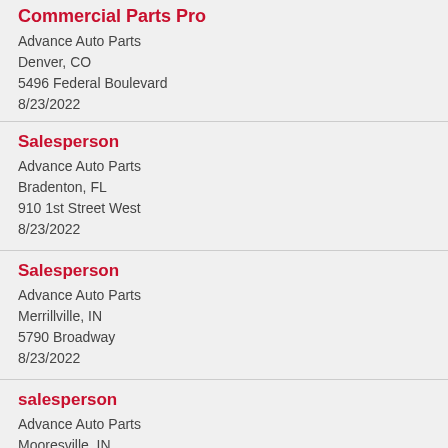Commercial Parts Pro
Advance Auto Parts
Denver, CO
5496 Federal Boulevard
8/23/2022
Salesperson
Advance Auto Parts
Bradenton, FL
910 1st Street West
8/23/2022
Salesperson
Advance Auto Parts
Merrillville, IN
5790 Broadway
8/23/2022
salesperson
Advance Auto Parts
Mooresville, IN
585 S State Rd
8/23/2022
Retail Parts Pro